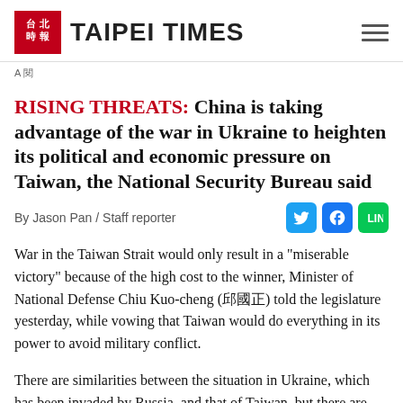TAIPEI TIMES
RISING THREATS: China is taking advantage of the war in Ukraine to heighten its political and economic pressure on Taiwan, the National Security Bureau said
By Jason Pan / Staff reporter
War in the Taiwan Strait would only result in a "miserable victory" because of the high cost to the winner, Minister of National Defense Chiu Kuo-cheng (邱國正) told the legislature yesterday, while vowing that Taiwan would do everything in its power to avoid military conflict.
There are similarities between the situation in Ukraine, which has been invaded by Russia, and that of Taiwan, but there are also significant differences, he said.